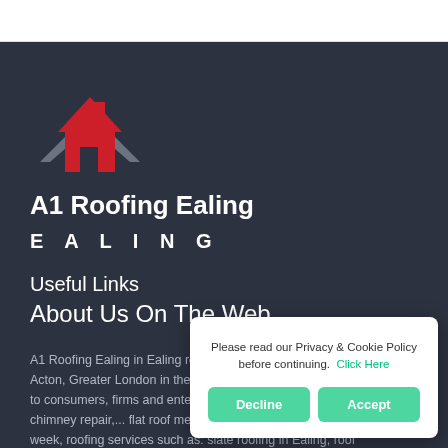[Figure (logo): A1 Roofing Ealing logo — red house/roof icon with grey chevron underneath]
A1 Roofing Ealing
EALING
Useful Links
About Us On The Web
A1 Roofing Ealing in Ealing roofing services in Ealing, found near to Acton, Greater London in the South East... consumers, firms and enterprises... London offering chimney repair,... membrane Services. At A1 Roofi... week, roofing services such as: slate roofing in Ealing, roof maintenance
Please read our Privacy & Cookie Policy before continuing.  Click Here
Decline
Accept